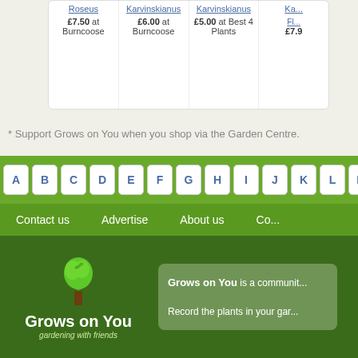| Store 1 | Store 2 | Store 3 | Store 4 |
| --- | --- | --- | --- |
| Roseus | Karvinskianus | Karvinskianus | Kar... |
| £7.50 at Burncoose | £6.00 at Burncoose | £5.00 at Best 4 Plants | £7.9... |
* Support Grows on You when you shop via the Garden Centre.
A B C D E F G H I J K L M
Contact us   Advertise   About us   Co...
[Figure (logo): Grows on You logo with green tree and text 'Grows on You gardening with friends']
Grows on You is a communit... Record the plants in your gar...